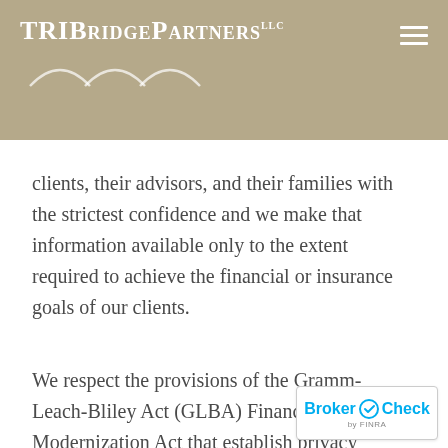TriBridgePartners LLC
clients, their advisors, and their families with the strictest confidence and we make that information available only to the extent required to achieve the financial or insurance goals of our clients.
We respect the provisions of the Gramm-Leach-Bliley Act (GLBA) Financial Services Modernization Act that establish privacy regulations for the Financial Services industry and have adopted a privacy policy that assures the maintenance of our Client Care
[Figure (logo): BrokerCheck by FINRA logo badge in bottom right corner]